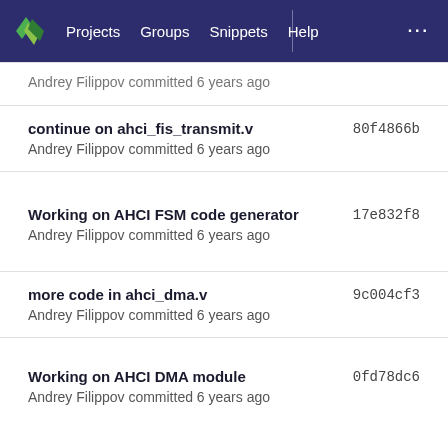Projects  Groups  Snippets  Help
Andrey Filippov committed 6 years ago
continue on ahci_fis_transmit.v  80f4866b
Andrey Filippov committed 6 years ago
Working on AHCI FSM code generator  17e832f8
Andrey Filippov committed 6 years ago
more code in ahci_dma.v  9c004cf3
Andrey Filippov committed 6 years ago
Working on AHCI DMA module  0fd78dc6
Andrey Filippov committed 6 years ago